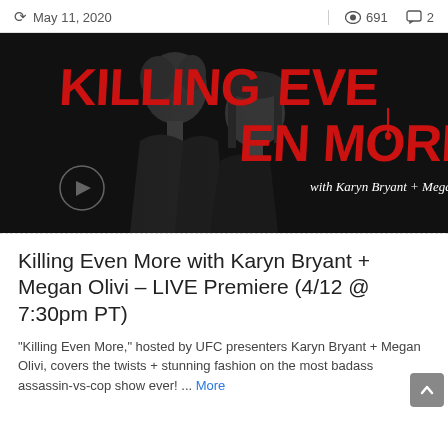May 11, 2020  |  691 views  2 comments
[Figure (illustration): Killing Even More with Karyn Bryant + Megan Olivi promotional image. Bold red stylized text 'KILLING EVE' large, with 'EN MORE' continuing, over a black and white photo of two women. Text below reads 'with Karyn Bryant + Megan Olivi'.]
Killing Even More with Karyn Bryant + Megan Olivi – LIVE Premiere (4/12 @ 7:30pm PT)
"Killing Even More," hosted by UFC presenters Karyn Bryant + Megan Olivi, covers the twists + stunning fashion on the most badass assassin-vs-cop show ever! ... More